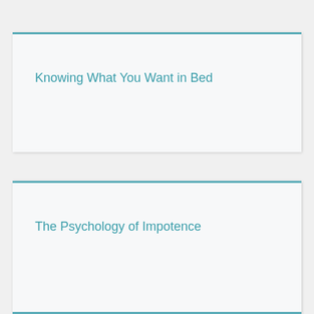Knowing What You Want in Bed
The Psychology of Impotence